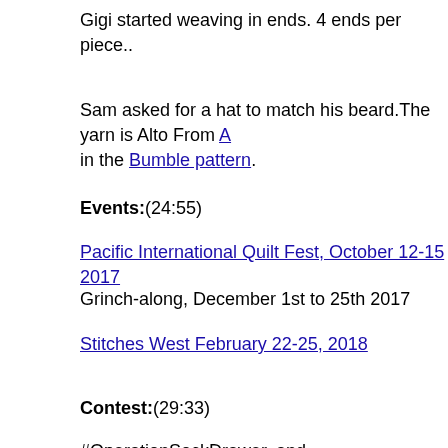Gigi started weaving in ends. 4 ends per piece..
Sam asked for a hat to match his beard.The yarn is Alto From A in the Bumble pattern.
Events:(24:55)
Pacific International Quilt Fest, October 12-15 2017
Grinch-along, December 1st to 25th 2017
Stitches West February 22-25, 2018
Contest:(29:33)
#OperationSockDrawer, and #ProjectSweaterChest are ongoing originality and delightfulness.
Jasmin is cooking up a new contest, TBA.
New Prize: a skein of A Hundred Ravens Iachos in “Starry Night
Mother Knows Best:(32:59)
This week we answer a question from the "What do you want t